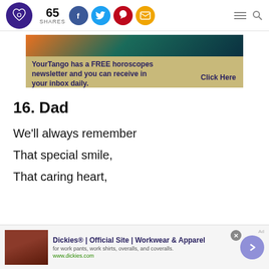65 SHARES — social sharing header with logo
[Figure (infographic): YourTango horoscopes newsletter advertisement banner with teal/orange cosmic background and tan text area]
16. Dad
We’ll always remember
That special smile,
That caring heart,
[Figure (infographic): Dickies Official Site Workwear & Apparel advertisement with furniture image, close button, and navigation arrow]